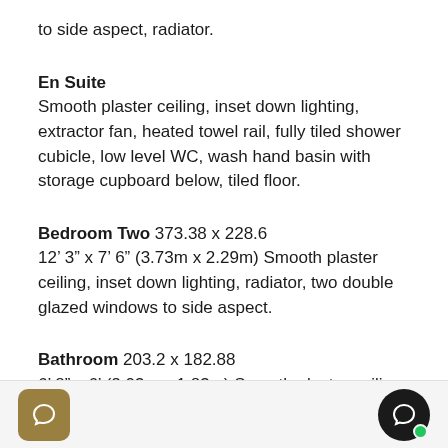to side aspect, radiator.
En Suite
Smooth plaster ceiling, inset down lighting, extractor fan, heated towel rail, fully tiled shower cubicle, low level WC, wash hand basin with storage cupboard below, tiled floor.
Bedroom Two 373.38 x 228.6
12’ 3” x 7’ 6” (3.73m x 2.29m) Smooth plaster ceiling, inset down lighting, radiator, two double glazed windows to side aspect.
Bathroom 203.2 x 182.88
6’ 8” x 6’ (2.03m x 1.83m) Smooth plaster ceiling, inset down lighting, extractor fan, heated towel